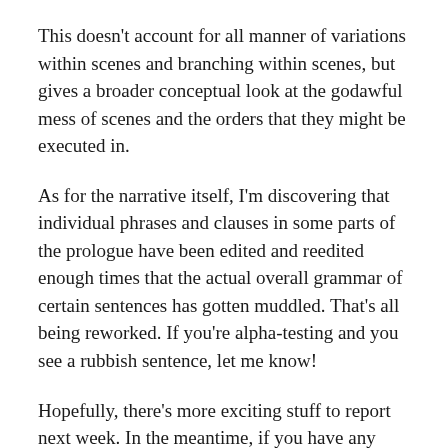This doesn't account for all manner of variations within scenes and branching within scenes, but gives a broader conceptual look at the godawful mess of scenes and the orders that they might be executed in.
As for the narrative itself, I'm discovering that individual phrases and clauses in some parts of the prologue have been edited and reedited enough times that the actual overall grammar of certain sentences has gotten muddled. That's all being reworked. If you're alpha-testing and you see a rubbish sentence, let me know!
Hopefully, there's more exciting stuff to report next week. In the meantime, if you have any questions, you can ask me on Twitter.